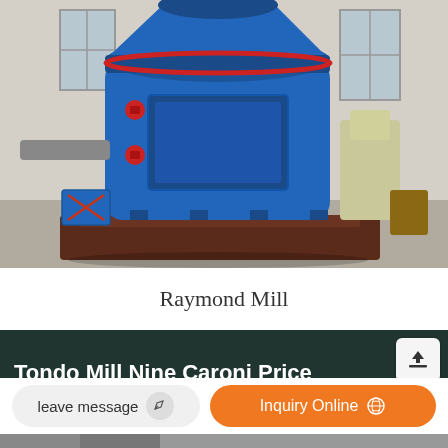[Figure (photo): Industrial Raymond Mill machine, large blue cylindrical grinding mill in a factory setting]
Raymond Mill
Tondo Mill Nine Caroni Price
leave message
Inquiry Online